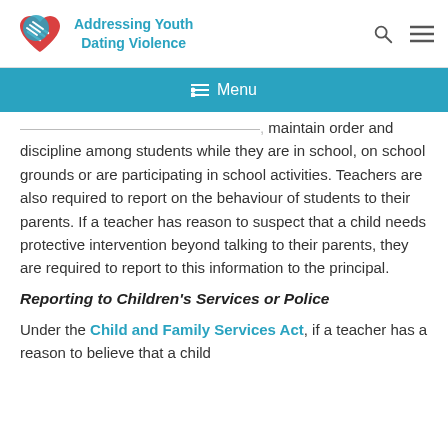[Figure (logo): Addressing Youth Dating Violence logo with heart icon and two hands]
Addressing Youth Dating Violence
Menu navigation bar
maintain order and discipline among students while they are in school, on school grounds or are participating in school activities. Teachers are also required to report on the behaviour of students to their parents. If a teacher has reason to suspect that a child needs protective intervention beyond talking to their parents, they are required to report to this information to the principal.
Reporting to Children's Services or Police
Under the Child and Family Services Act, if a teacher has a reason to believe that a child